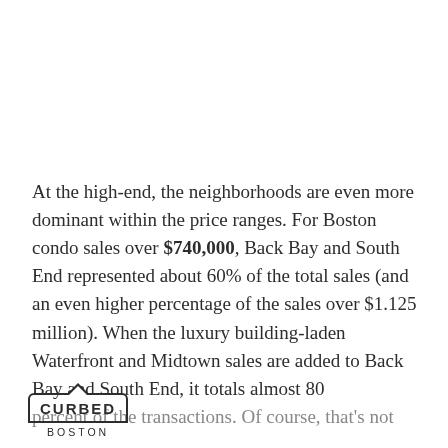At the high-end, the neighborhoods are even more dominant within the price ranges. For Boston condo sales over $740,000, Back Bay and South End represented about 60% of the total sales (and an even higher percentage of the sales over $1.125 million). When the luxury building-laden Waterfront and Midtown sales are added to Back Bay and South End, it totals almost 80 percent of the transactions. Of course, that's not eve...
CURBED BOSTON